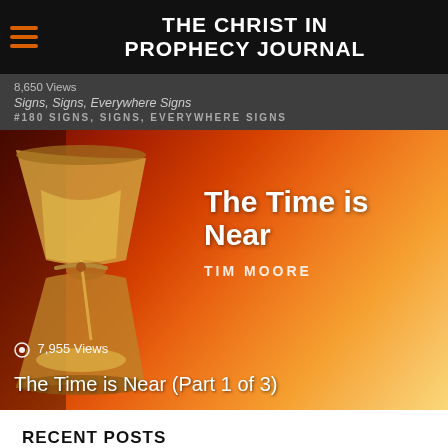THE CHRIST IN PROPHECY JOURNAL
[Figure (screenshot): Video thumbnail showing an hourglass against an orange/red background with text 'The Time is Near' by Tim Moore, with 7,955 views label and title 'The Time is Near (Part 1 of 3)']
RECENT POSTS
Cost of Living Got You Down?
August 25, 2022